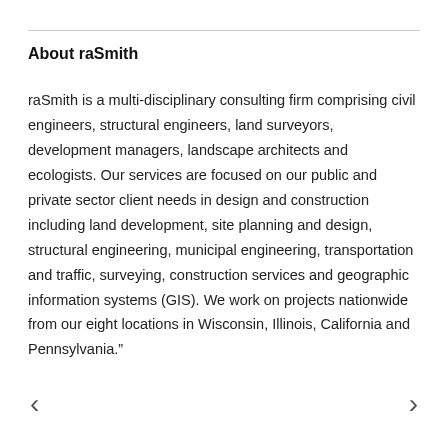About raSmith
raSmith is a multi-disciplinary consulting firm comprising civil engineers, structural engineers, land surveyors, development managers, landscape architects and ecologists. Our services are focused on our public and private sector client needs in design and construction including land development, site planning and design, structural engineering, municipal engineering, transportation and traffic, surveying, construction services and geographic information systems (GIS). We work on projects nationwide from our eight locations in Wisconsin, Illinois, California and Pennsylvania."